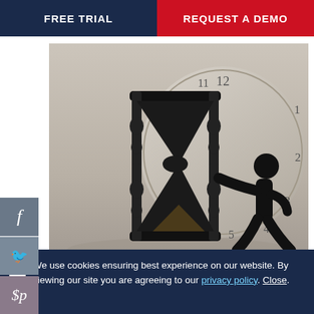FREE TRIAL | REQUEST A DEMO
[Figure (illustration): Illustration of a silhouette figure pushing an hourglass with a large clock face in the background, on a gray surface]
Less Time, More Results with Web Chat Software
04 June 2015
[Figure (photo): Partial photo showing a blurred surface, beginning of a second article image]
We use cookies ensuring best experience on our website. By viewing our site you are agreeing to our privacy policy. Close.